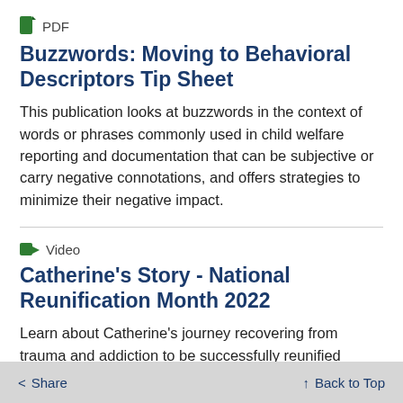PDF
Buzzwords: Moving to Behavioral Descriptors Tip Sheet
This publication looks at buzzwords in the context of words or phrases commonly used in child welfare reporting and documentation that can be subjective or carry negative connotations, and offers strategies to minimize their negative impact.
Video
Catherine's Story - National Reunification Month 2022
Learn about Catherine's journey recovering from trauma and addiction to be successfully reunified with her daughter.
< Share   ↑ Back to Top